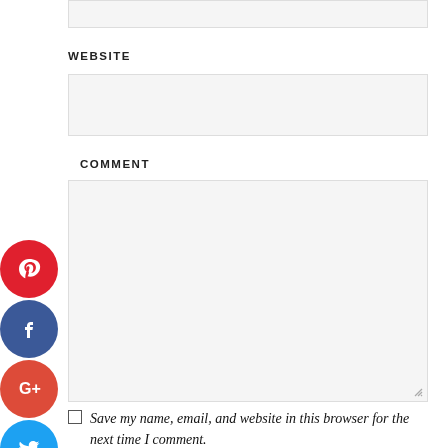[Figure (other): Social media sharing buttons: Pinterest (red), Facebook (dark blue), Google+ (red-orange), Twitter (light blue), LinkedIn (dark blue) — circular buttons stacked vertically on left side]
WEBSITE
COMMENT
Save my name, email, and website in this browser for the next time I comment.